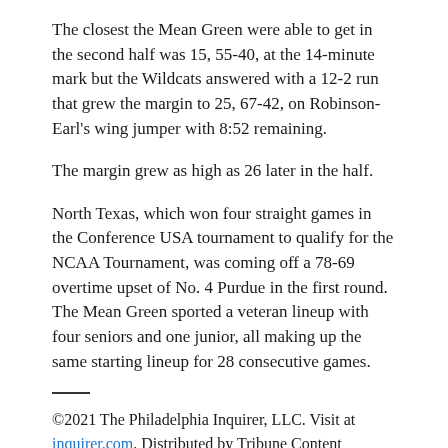The closest the Mean Green were able to get in the second half was 15, 55-40, at the 14-minute mark but the Wildcats answered with a 12-2 run that grew the margin to 25, 67-42, on Robinson-Earl's wing jumper with 8:52 remaining.
The margin grew as high as 26 later in the half.
North Texas, which won four straight games in the Conference USA tournament to qualify for the NCAA Tournament, was coming off a 78-69 overtime upset of No. 4 Purdue in the first round. The Mean Green sported a veteran lineup with four seniors and one junior, all making up the same starting lineup for 28 consecutive games.
©2021 The Philadelphia Inquirer, LLC. Visit at inquirer.com. Distributed by Tribune Content Agency, LLC.
Article posted on 3/22/2021
This article has been viewed 404 times.